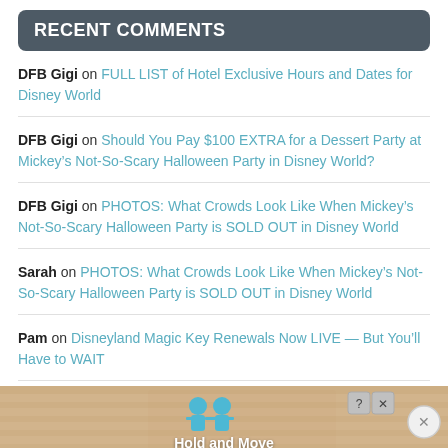RECENT COMMENTS
DFB Gigi on FULL LIST of Hotel Exclusive Hours and Dates for Disney World
DFB Gigi on Should You Pay $100 EXTRA for a Dessert Party at Mickey’s Not-So-Scary Halloween Party in Disney World?
DFB Gigi on PHOTOS: What Crowds Look Like When Mickey’s Not-So-Scary Halloween Party is SOLD OUT in Disney World
Sarah on PHOTOS: What Crowds Look Like When Mickey’s Not-So-Scary Halloween Party is SOLD OUT in Disney World
Pam on Disneyland Magic Key Renewals Now LIVE — But You’ll Have to WAIT
[Figure (screenshot): Advertisement banner at bottom showing 'Hold and Move' app with cartoon figures and close button]